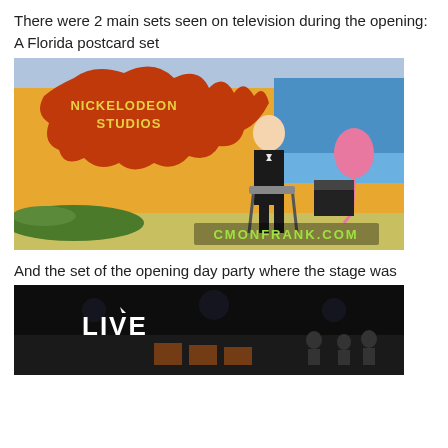There were 2 main sets seen on television during the opening:
A Florida postcard set
[Figure (photo): A TV screenshot from Nickelodeon Studios showing a host in a tuxedo sitting in a chair on a Florida-themed set with a Nickelodeon Studios sign, colorful backdrop, and a pink flamingo. Watermark reads CMONFRANK.COM]
And the set of the opening day party where the stage was
[Figure (photo): A dark screenshot showing a stage with 'LIVE' text visible in the foreground, with audience and stage elements visible in the background.]